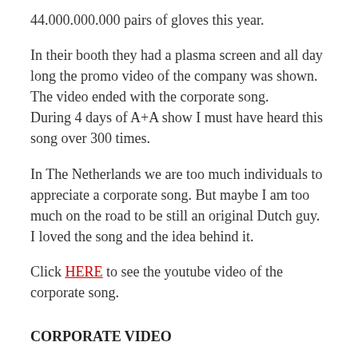44.000.000.000 pairs of gloves this year.
In their booth they had a plasma screen and all day long the promo video of the company was shown. The video ended with the corporate song.
During 4 days of A+A show I must have heard this song over 300 times.
In The Netherlands we are too much individuals to appreciate a corporate song. But maybe I am too much on the road to be still an original Dutch guy. I loved the song and the idea behind it.
Click HERE to see the youtube video of the corporate song.
CORPORATE VIDEO